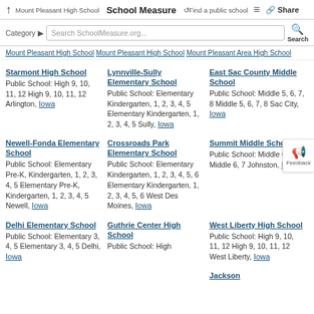↑ Mount Pleasant High School | School Measure | ↺Find a public school | ≡ | 🔗 Share
Search SchoolMeasure.org...
Mount Pleasant High School   Mount Pleasant High School   Mount Pleasant Area High School
Starmont High School - Public School: High 9, 10, 11, 12 High 9, 10, 11, 12 Arlington, Iowa
Lynnville-Sully Elementary School - Public School: Elementary Kindergarten, 1, 2, 3, 4, 5 Elementary Kindergarten, 1, 2, 3, 4, 5 Sully, Iowa
East Sac County Middle School - Public School: Middle 5, 6, 7, 8 Middle 5, 6, 7, 8 Sac City, Iowa
Newell-Fonda Elementary School - Public School: Elementary Pre-K, Kindergarten, 1, 2, 3, 4, 5 Elementary Pre-K, Kindergarten, 1, 2, 3, 4, 5 Newell, Iowa
Crossroads Park Elementary School - Public School: Elementary Kindergarten, 1, 2, 3, 4, 5, 6 Elementary Kindergarten, 1, 2, 3, 4, 5, 6 West Des Moines, Iowa
Summit Middle School - Public School: Middle 6, 7 Middle 6, 7 Johnston, Iowa
Delhi Elementary School - Public School: Elementary 3, 4, 5 Elementary 3, 4, 5 Delhi, Iowa
Guthrie Center High School - Public School: High ...
West Liberty High School - Public School: High 9, 10, 11, 12 High 9, 10, 11, 12 West Liberty, Iowa
Jackson ...